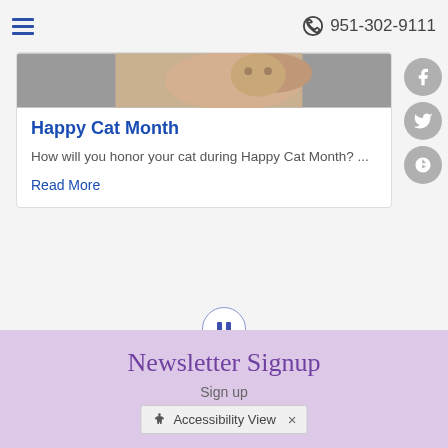☰   951-302-9111
[Figure (photo): Close-up photo of a cat, partial view showing face and paw on grey background]
Happy Cat Month
How will you honor your cat during Happy Cat Month? ...
Read More
[Figure (other): Pause button icon — circle with two vertical bars inside]
Newsletter Signup
Sign up
♿ Accessibility View  ×